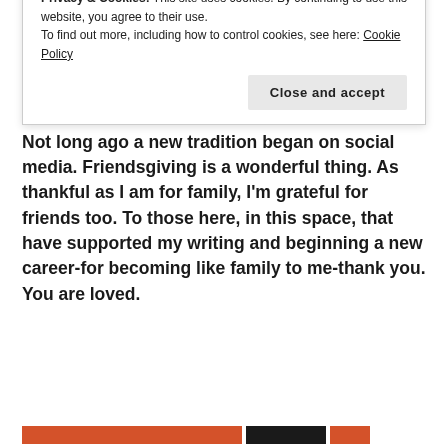For a country that seems torn by opposite opinions and acts of aggression, I pray that assaults will cease. Not just on the Day of Thanksgiving and Praise, but every day.
Not long ago a new tradition began on social media. Friendsgiving is a wonderful thing. As thankful as I am for family, I'm grateful for friends too. To those here, in this space, that have supported my writing and beginning a new career-for becoming like family to me-thank you. You are loved.
Privacy & Cookies: This site uses cookies. By continuing to use this website, you agree to their use.
To find out more, including how to control cookies, see here: Cookie Policy
Close and accept